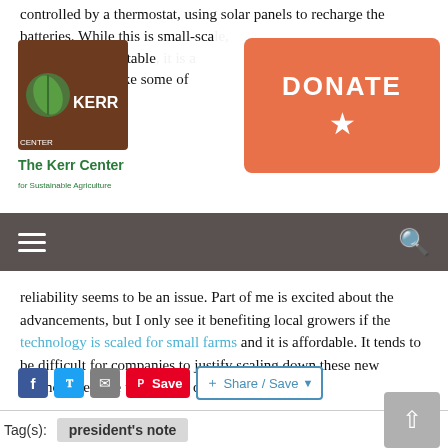controlled by a thermostat, using solar panels to recharge the batteries. While this is small-scale, no models on the table, it is a duce labor and take some of production.
[Figure (logo): The Kerr Center for Sustainable Agriculture logo - brown square with leaf/wheat icon and text]
[Figure (other): Orange DONATE button with star icon]
[Figure (other): Navigation bar with hamburger menu icon on left and search icon on right, dark brown/grey background]
reliability seems to be an issue. Part of me is excited about the advancements, but I only see it benefiting local growers if the technology is scaled for small farms and it is affordable. It tends to be difficult for companies to justify scaling down these new technologies due to the high development costs.
[Figure (other): Social sharing buttons: Facebook, Twitter, Email, Pinterest Save, Share/Save]
Tag(s): president's note
[Figure (other): Scroll to top button (grey, chevron up arrow)]